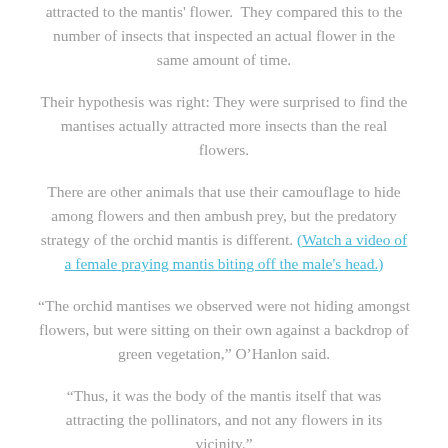attracted to the mantis' flower. They compared this to the number of insects that inspected an actual flower in the same amount of time.
Their hypothesis was right: They were surprised to find the mantises actually attracted more insects than the real flowers.
There are other animals that use their camouflage to hide among flowers and then ambush prey, but the predatory strategy of the orchid mantis is different. (Watch a video of a female praying mantis biting off the male's head.)
“The orchid mantises we observed were not hiding amongst flowers, but were sitting on their own against a backdrop of green vegetation,” O’Hanlon said.
“Thus, it was the body of the mantis itself that was attracting the pollinators, and not any flowers in its vicinity.”